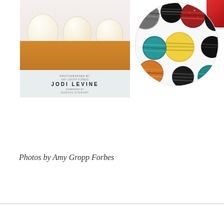[Figure (photo): Book cover showing cupcakes, titled 'Jodi Levine', photographed by Amy Gropp Forbes, foreword by Martha Stewart]
[Figure (photo): Circular cropped image showing colorful planet-like circles/orbs on white background with various colors including yellow, red, teal, brown, grey]
[Figure (photo): Partial red circular object visible at top right corner of page]
Photos by Amy Gropp Forbes